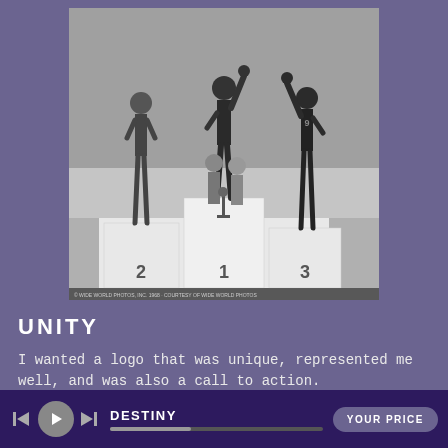[Figure (photo): Black and white photograph of an Olympic podium ceremony, showing athletes with raised fists and officials standing. Podium positions 2 and 3 are visible in the foreground.]
UNITY
I wanted a logo that was unique, represented me well, and was also a call to action.
DESTINY   YOUR PRICE